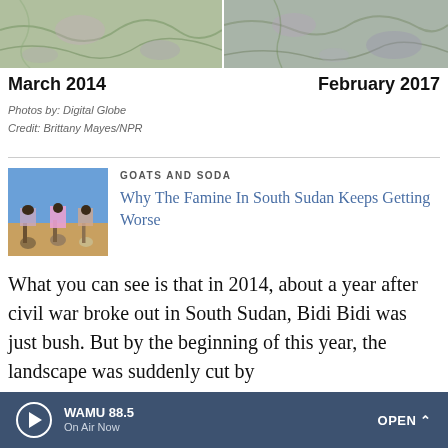[Figure (photo): Two satellite images side by side showing landscape of Bidi Bidi refugee settlement area]
March 2014
February 2017
Photos by: Digital Globe
Credit: Brittany Mayes/NPR
[Figure (photo): Thumbnail photo of people walking carrying items on their heads in an arid landscape]
GOATS AND SODA
Why The Famine In South Sudan Keeps Getting Worse
What you can see is that in 2014, about a year after civil war broke out in South Sudan, Bidi Bidi was just bush. But by the beginning of this year, the landscape was suddenly cut by
WAMU 88.5
On Air Now
OPEN ^